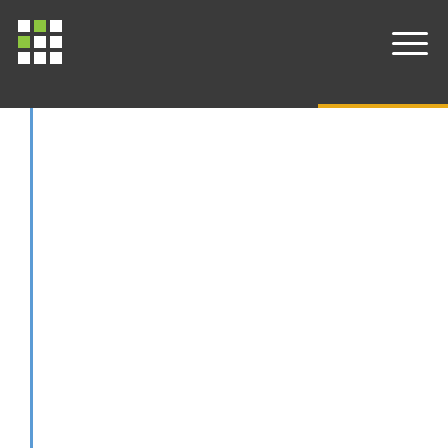DV; de Castro, EF; de Jager, P; De Leo, D; Degenhardt, L; Dellavalle, RP; Deribe, K; Deribew, A; Dharmaratne, SD; Dhillon, PK; Diaz-Torne, C; Ding, EL; dos Santos, KPB; Dossou, E; Driscoll, TR; Duan, LL; Dubey, M; Bartholow, B; Ellenbogen, RG; Lycke, C; Elyazar, I; Endries, AY; Ermakov, SP; Eshrati, B; Esteghamati, A; Estep, K; Faghmous, IDA; Fahimi, S; Jose, E; Farid, TA; Farinha,